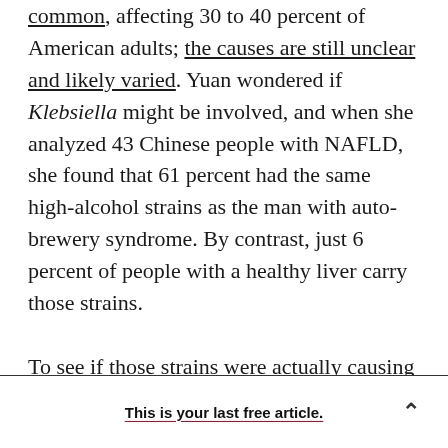common, affecting 30 to 40 percent of American adults; the causes are still unclear and likely varied. Yuan wondered if Klebsiella might be involved, and when she analyzed 43 Chinese people with NAFLD, she found that 61 percent had the same high-alcohol strains as the man with auto-brewery syndrome. By contrast, just 6 percent of people with a healthy liver carry those strains.

To see if those strains were actually causing fatty livers, the team fed them to mice that had been raised in sterile conditions and lacked microbes of their own. Within two months, the rodents had
This is your last free article.